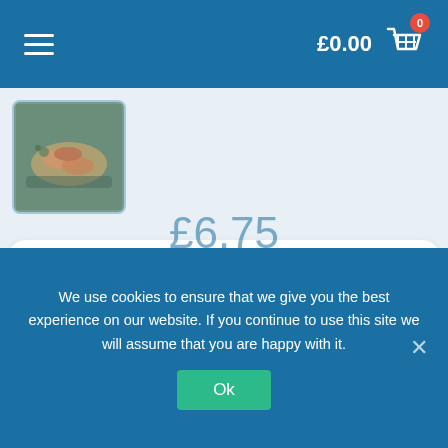£0.00  [cart] 0
[Figure (photo): Thumbnail image of cooked langoustine on a tray with garnish]
Cooked Whole Langoustine
Trays of Cooked Whole Scottish Langoustine 400g – average 10 Pieces
We use cookies to ensure that we give you the best experience on our website. If you continue to use this site we will assume that you are happy with it.
Ok